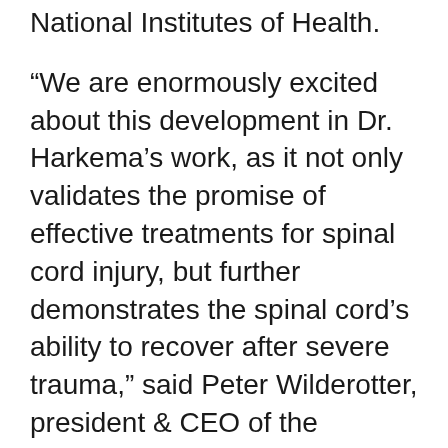National Institutes of Health.
“We are enormously excited about this development in Dr. Harkema’s work, as it not only validates the promise of effective treatments for spinal cord injury, but further demonstrates the spinal cord’s ability to recover after severe trauma,” said Peter Wilderotter, president & CEO of the Christopher & Dana Reeve Foundation. “As we continue to support and fund Dr. Harkema’s research, it is awe-inspiring to see another breakthrough on the path to cures for paralysis, and how much this particular treatment has improved quality of life and health for Drew.”